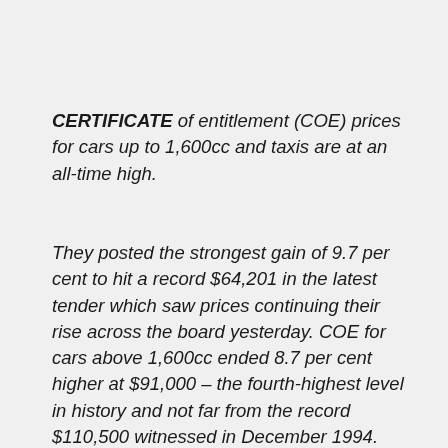CERTIFICATE of entitlement (COE) prices for cars up to 1,600cc and taxis are at an all-time high.
They posted the strongest gain of 9.7 per cent to hit a record $64,201 in the latest tender which saw prices continuing their rise across the board yesterday. COE for cars above 1,600cc ended 8.7 per cent higher at $91,000 – the fourth-highest level in history and not far from the record $110,500 witnessed in December 1994.